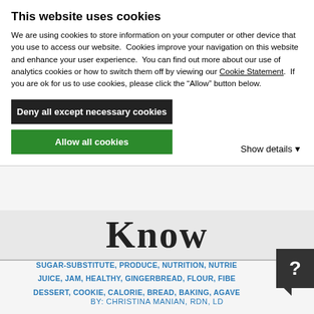This website uses cookies
We are using cookies to store information on your computer or other device that you use to access our website.  Cookies improve your navigation on this website and enhance your user experience.  You can find out more about our use of analytics cookies or how to switch them off by viewing our Cookie Statement.  If you are ok for us to use cookies, please click the “Allow” button below.
Deny all except necessary cookies
Allow all cookies
Show details ▾
Know
SUGAR-SUBSTITUTE, PRODUCE, NUTRITION, NUTRIENT, JUICE, JAM, HEALTHY, GINGERBREAD, FLOUR, FIBER, DESSERT, COOKIE, CALORIE, BREAD, BAKING, AGAVE
BY: CHRISTINA MANIAN, RDN, LD